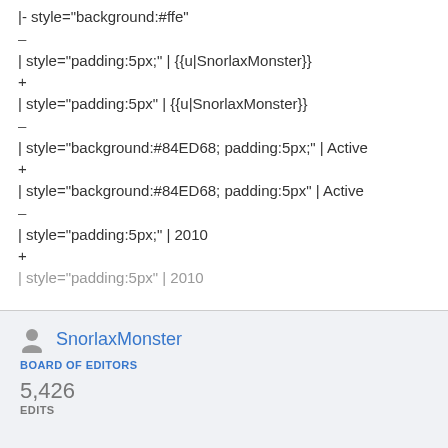|- style="background:#ffe"
–
| style="padding:5px;" | {{u|SnorlaxMonster}}
+
| style="padding:5px" | {{u|SnorlaxMonster}}
–
| style="background:#84ED68; padding:5px;" | Active
+
| style="background:#84ED68; padding:5px" | Active
–
| style="padding:5px;" | 2010
+
| style="padding:5px" | 2010 (partial, cut off)
SnorlaxMonster
BOARD OF EDITORS
5,426
EDITS